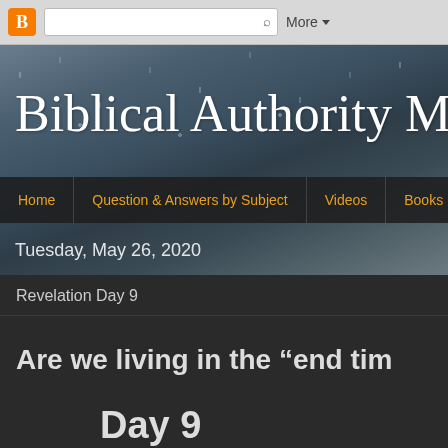B  [search]  More
Biblical Authority Mi
Home | Question & Answers by Subject | Videos | Books
Tuesday, May 26, 2020
Revelation Day 9
Are we living in the “end tim
Day 9